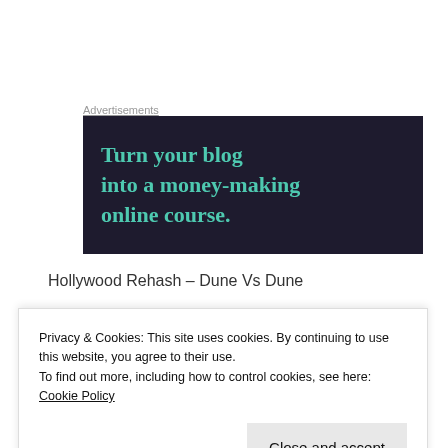Advertisements
[Figure (illustration): Advertisement banner with dark navy background and teal serif text reading: Turn your blog into a money-making online course.]
Hollywood Rehash – Dune Vs Dune
This article is...
Privacy & Cookies: This site uses cookies. By continuing to use this website, you agree to their use.
To find out more, including how to control cookies, see here: Cookie Policy
Close and accept